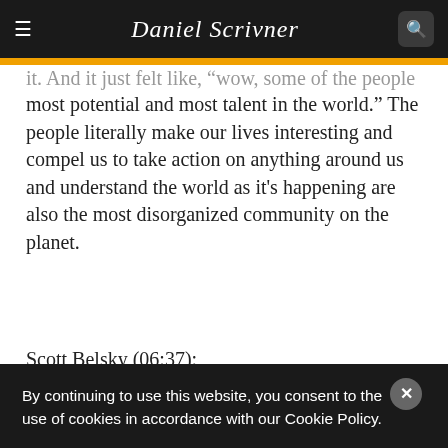≡   Daniel Scrivner   🔍
it. And it just felt like, "Wow, some of the people were the most potential and most talent in the world." The people literally make our lives interesting and compel us to take action on anything around us and understand the world as it's happening are also the most disorganized community on the planet.
Scott Belsky (06:37):
At an existential level, Behance's mission was so organized the creative world. And of course, when I told
By continuing to use this website, you consent to the use of cookies in accordance with our Cookie Policy.